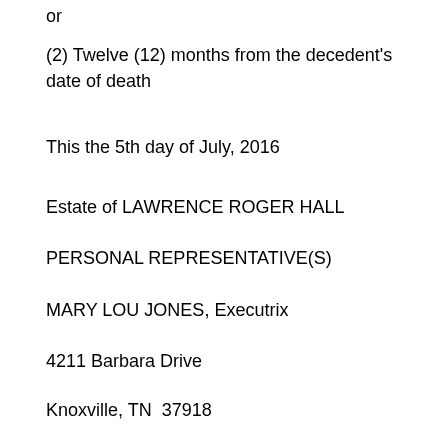or
(2) Twelve (12) months from the decedent's date of death
This the 5th day of July, 2016
Estate of LAWRENCE ROGER HALL
PERSONAL REPRESENTATIVE(S)
MARY LOU JONES, Executrix
4211 Barbara Drive
Knoxville, TN  37918
SCOTT B. HAHN
Attorney at Law
5344 N Broadway, Ste 101